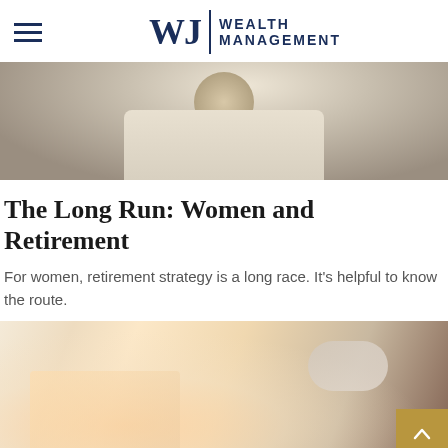WJ Wealth Management
[Figure (photo): Cropped photo of a woman in a white ruffled top, arms crossed, upper body visible]
The Long Run: Women and Retirement
For women, retirement strategy is a long race. It's helpful to know the route.
[Figure (photo): Close-up blurred photo of hands using a smartphone or tablet device with a stethoscope in background]